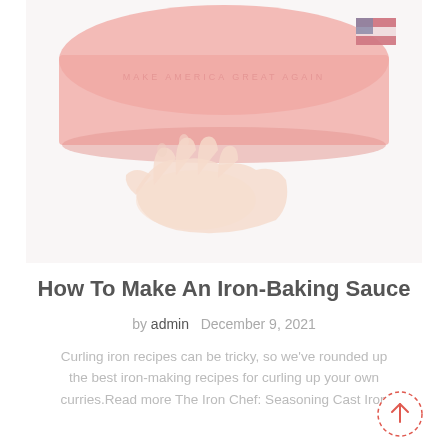[Figure (photo): A blurred/faded photograph of a person holding a red cap or hat. The image shows a hand gripping the red hat from below, with the hat featuring some embroidered text. An American flag patch is visible on the right side of the hat. The background is white/light. The image has a washed-out, faded appearance.]
How To Make An Iron-Baking Sauce
by admin  December 9, 2021
Curling iron recipes can be tricky, so we've rounded up the best iron-making recipes for curling up your own curries.Read more The Iron Chef: Seasoning Cast Iron